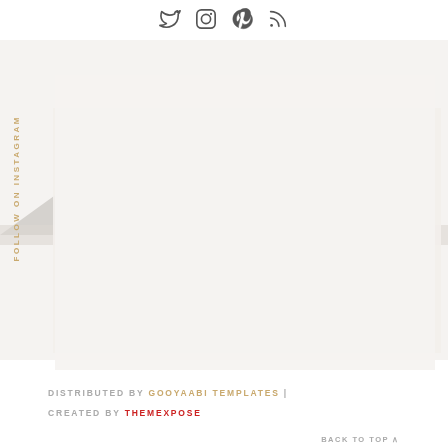[Figure (other): Social media icons row: Twitter bird, Instagram camera, Pinterest P, RSS feed symbol]
[Figure (illustration): Mountain silhouette background image — snowy mountain peaks in muted grey/white tones with a light beige/grey rectangular overlay frame containing Instagram photos]
FOLLOW ON INSTAGRAM
DISTRIBUTED BY GOOYAABI TEMPLATES | CREATED BY THEMEXPOSE
BACK TO TOP